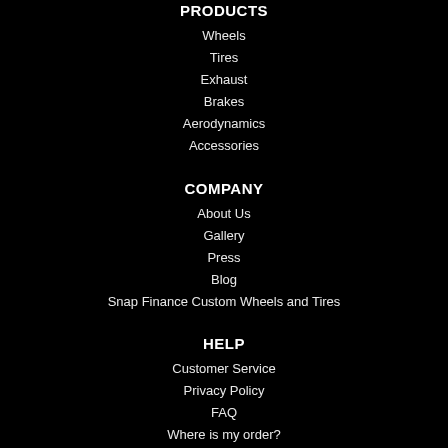PRODUCTS
Wheels
Tires
Exhaust
Brakes
Aerodynamics
Accessories
COMPANY
About Us
Gallery
Press
Blog
Snap Finance Custom Wheels and Tires
HELP
Customer Service
Privacy Policy
FAQ
Where is my order?
Shipping and Delivery
Packaging
Return Policy
Guaranteed Fit
Lease-to-Own